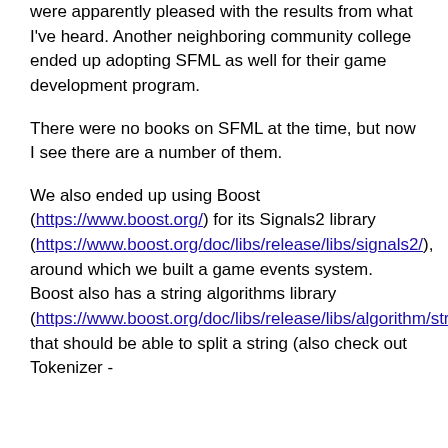were apparently pleased with the results from what I've heard. Another neighboring community college ended up adopting SFML as well for their game development program.
There were no books on SFML at the time, but now I see there are a number of them.
We also ended up using Boost (https://www.boost.org/) for its Signals2 library (https://www.boost.org/doc/libs/release/libs/signals2/), around which we built a game events system. Boost also has a string algorithms library (https://www.boost.org/doc/libs/release/libs/algorithm/string/ that should be able to split a string (also check out Tokenizer -